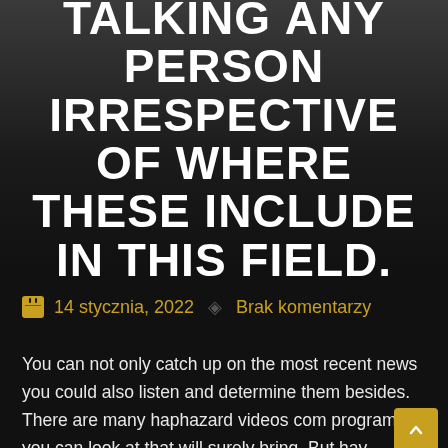TALKING ÁNY PERSON IRRESPECTIVE OF WHERE THESE INCLUDE IN THIS FIELD.
14 stycznia, 2022   Brak komentarzy
You can not only catch up on the most recent news you could also listen and determine them besides. There are many haphazard videos com programs you can look at that will surely bring. But hav…